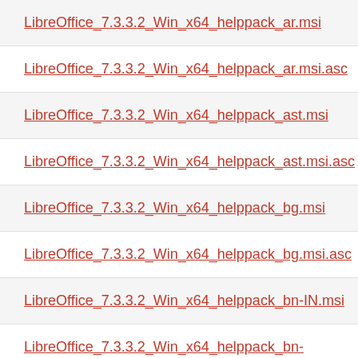LibreOffice_7.3.3.2_Win_x64_helppack_ar.msi
LibreOffice_7.3.3.2_Win_x64_helppack_ar.msi.asc
LibreOffice_7.3.3.2_Win_x64_helppack_ast.msi
LibreOffice_7.3.3.2_Win_x64_helppack_ast.msi.asc
LibreOffice_7.3.3.2_Win_x64_helppack_bg.msi
LibreOffice_7.3.3.2_Win_x64_helppack_bg.msi.asc
LibreOffice_7.3.3.2_Win_x64_helppack_bn-IN.msi
LibreOffice_7.3.3.2_Win_x64_helppack_bn-IN.msi.asc